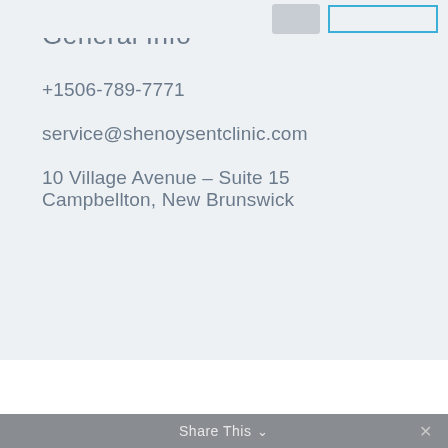[Figure (screenshot): Top navigation bar with avatar placeholder and blue outlined button]
General Info
+1506-789-7771
service@shenoysentclinic.com
10 Village Avenue – Suite 15
Campbellton, New Brunswick
Share This ✓  ✕